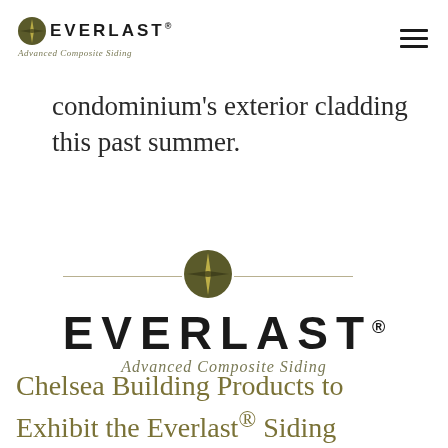[Figure (logo): Everlast Advanced Composite Siding logo — small compass/clock icon above brand name EVERLAST with registered trademark, italic tagline 'Advanced Composite Siding']
condominium's exterior cladding this past summer.
[Figure (logo): Everlast Advanced Composite Siding large centered logo — horizontal gold divider lines flanking compass medallion icon, large EVERLAST lettering, italic tagline 'Advanced Composite Siding']
Chelsea Building Products to Exhibit the Everlast® Siding